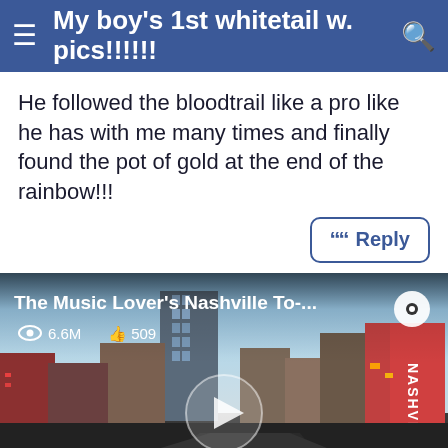My boy's 1st whitetail w. pics!!!!!!
He followed the bloodtrail like a pro like he has with me many times and finally found the pot of gold at the end of the rainbow!!!
[Figure (screenshot): Video thumbnail of Nashville cityscape at dusk with a play button overlay. Title: 'The Music Lover's Nashville To-...', views: 6.6M, likes: 509.]